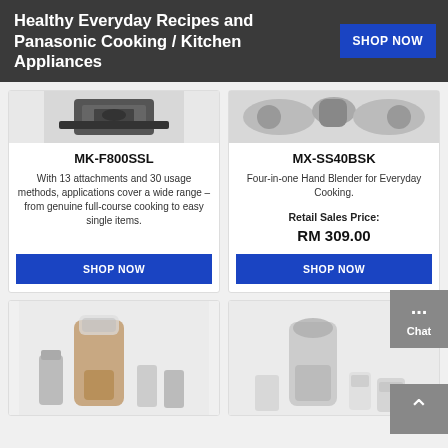Healthy Everyday Recipes and Panasonic Cooking / Kitchen Appliances
MK-F800SSL
With 13 attachments and 30 usage methods, applications cover a wide range – from genuine full-course cooking to easy single items.
MX-SS40BSK
Four-in-one Hand Blender for Everyday Cooking.
Retail Sales Price:
RM 309.00
[Figure (photo): Kitchen appliance blender/mixer product image (partially visible at top)]
[Figure (photo): Hand blender product image (partially visible at top)]
[Figure (photo): Blender/mixer product image in second row product card]
[Figure (photo): Multi-jar blender/mixer product image in second row product card]